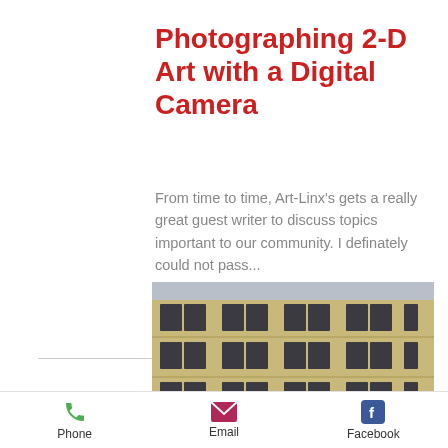Photographing 2-D Art with a Digital Camera
From time to time, Art-Linx's gets a really great guest writer to discuss topics important to our community. I definately could not pass...
[Figure (photo): Exterior facade of a multi-story brick building with rows of dark-framed windows]
Phone  Email  Facebook